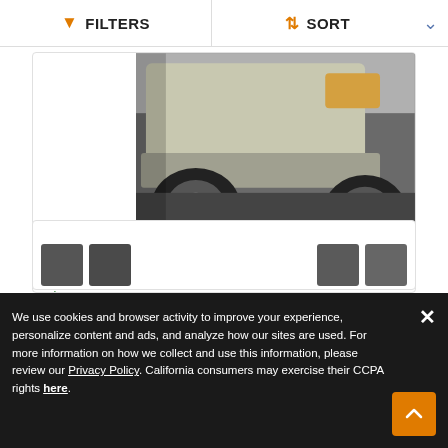FILTERS  SORT
[Figure (photo): Partial front view of a Land Rover Range Rover on a driveway with stone border and grass]
1978 Land Rover Range Rover
$77,995
| Color | Artic White |
| Miles | 61,860 |
We use cookies and browser activity to improve your experience, personalize content and ads, and analyze how our sites are used. For more information on how we collect and use this information, please review our Privacy Policy. California consumers may exercise their CCPA rights here.